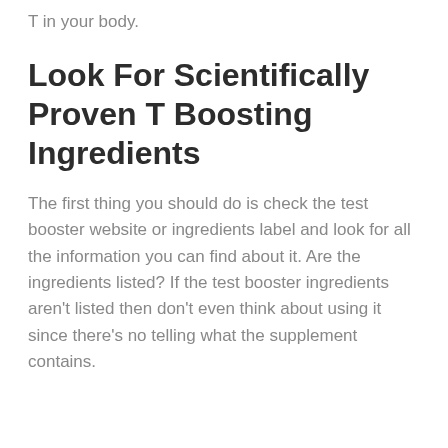T in your body.
Look For Scientifically Proven T Boosting Ingredients
The first thing you should do is check the test booster website or ingredients label and look for all the information you can find about it. Are the ingredients listed? If the test booster ingredients aren't listed then don't even think about using it since there's no telling what the supplement contains.